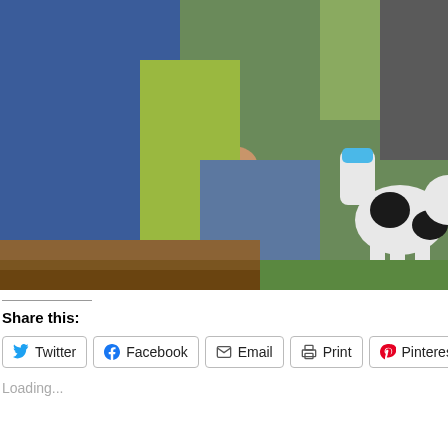[Figure (photo): Children feeding a black and white baby goat/lamb with a milk bottle with blue cap, sitting outdoors on grass near wooden fence/steps. One child wears blue, another yellow-green. Photo taken outdoors in daylight.]
Share this:
Twitter
Facebook
Email
Print
Pinterest 100
Loading...